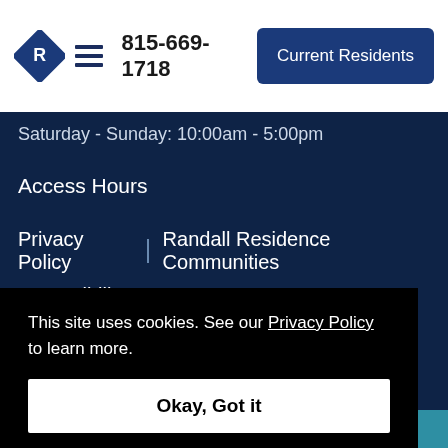815-669-1718  Current Residents
Saturday - Sunday: 10:00am - 5:00pm
Access Hours
Privacy Policy | Randall Residence Communities
Accessibility Statement
Copyright © 2022 Randall Residence of McHenry
This site uses cookies. See our Privacy Policy to learn more.
Okay, Got it